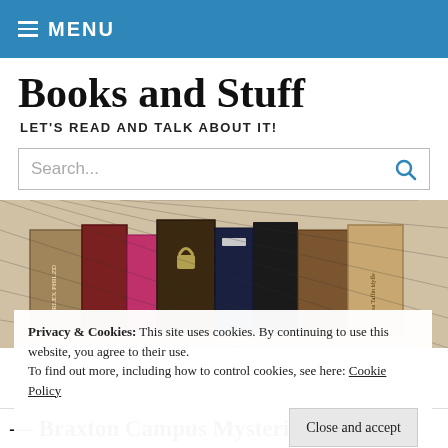MENU
Books and Stuff
LET'S READ AND TALK ABOUT IT!
[Figure (screenshot): Search bar with placeholder text 'Search...' and blue search icon]
[Figure (photo): Artistic photo of old antique books standing on a shelf, with a sketchy/crosshatch overlay effect in black and white with color accents]
Privacy & Cookies: This site uses cookies. By continuing to use this website, you agree to their use.
To find out more, including how to control cookies, see here: Cookie Policy
Close and accept
— Braxton Campus Mysteries Book